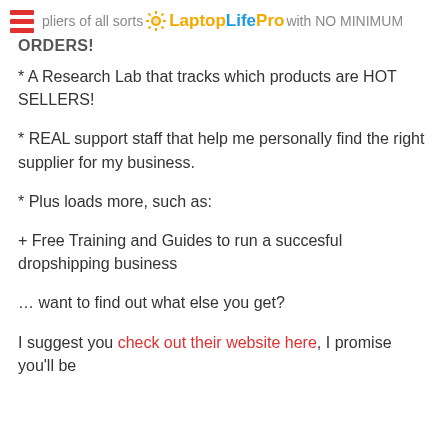pliers of all sorts LaptopLifePro with NO MINIMUM ORDERS!
* A Research Lab that tracks which products are HOT SELLERS!
* REAL support staff that help me personally find the right supplier for my business.
* Plus loads more, such as:
+ Free Training and Guides to run a succesful dropshipping business
… want to find out what else you get?
I suggest you check out their website here, I promise you'll be